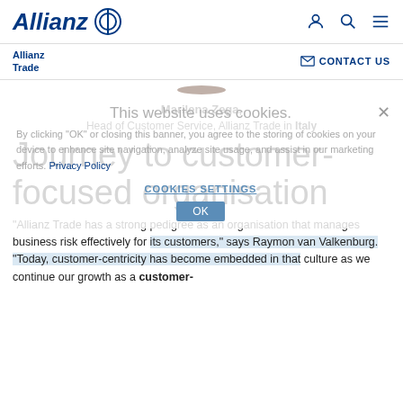Allianz [logo] | [person icon] [search icon] [menu icon]
Allianz Trade | CONTACT US
[Figure (photo): Partial photo of a person, cropped at bottom of header area]
This website uses cookies.
By clicking "OK" or closing this banner, you agree to the storing of cookies on your device to enhance site navigation, analyze site usage, and assist in our marketing efforts. Privacy Policy
COOKIES SETTINGS
Marilena Zega, Head of Customer Service, Allianz Trade in Italy
Journey to customer-focused organisation
“Allianz Trade has a strong pedigree as an organisation that manages business risk effectively for its customers,” says Raymon van Valkenburg. “Today, customer-centricity has become embedded in that culture as we continue our growth as a customer-